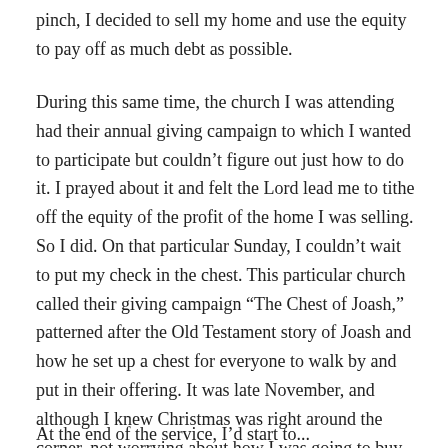pinch, I decided to sell my home and use the equity to pay off as much debt as possible.
During this same time, the church I was attending had their annual giving campaign to which I wanted to participate but couldn't figure out just how to do it. I prayed about it and felt the Lord lead me to tithe off the equity of the profit of the home I was selling. So I did. On that particular Sunday, I couldn't wait to put my check in the chest. This particular church called their giving campaign “The Chest of Joash,” patterned after the Old Testament story of Joash and how he set up a chest for everyone to walk by and put in their offering. It was late November, and although I knew Christmas was right around the corner, not worrying about how I was going to buy Christmas gifts, I put that check in the chest and felt a supernatural joy.
At the end of the service, I’d start to...